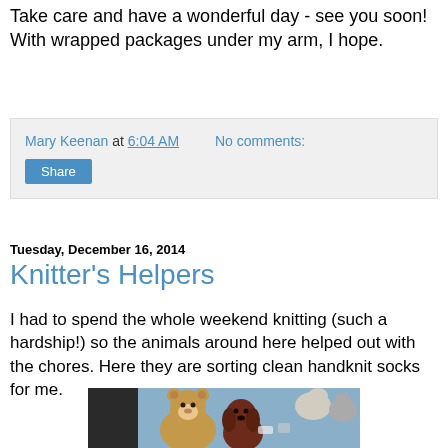Take care and have a wonderful day - see you soon! With wrapped packages under my arm, I hope.
Mary Keenan at 6:04 AM   No comments:
Share
Tuesday, December 16, 2014
Knitter's Helpers
I had to spend the whole weekend knitting (such a hardship!) so the animals around here helped out with the chores. Here they are sorting clean handknit socks for me.
[Figure (photo): Photo of stuffed animal bears (teddy bear and dog plush) on a blue blanket with socks, other stuffed animals in background]